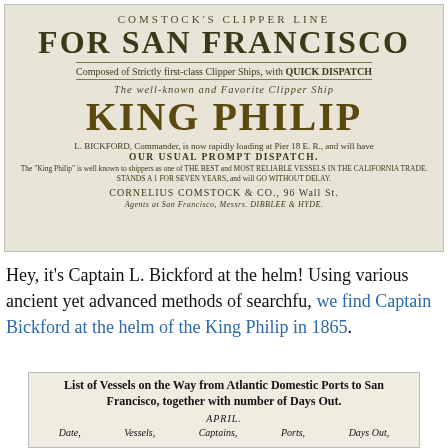[Figure (photo): Antique clipper ship advertisement. Header reads 'COMSTOCK'S CLIPPER LINE FOR SAN FRANCISCO', with 'The well-known and Favorite Clipper Ship KING PHILIP', commander L. BICKFORD, loading at Pier 18 E.R., with OUR USUAL PROMPT DISPATCH. Agents: CORNELIUS COMSTOCK & CO., 96 Wall St. Agents at San Francisco, Messrs. DIBBLEE & HYDE.]
Hey, it's Captain L. Bickford at the helm! Using various ancient yet advanced methods of searchfu, we find Captain Bickford at the helm of the King Philip in 1865.
[Figure (photo): Antique newspaper clipping: 'List of Vessels on the Way from Atlantic Domestic Ports to San Francisco, together with number of Days Out. APRIL. Date, Vessels, Captains, Ports, Days Out.']